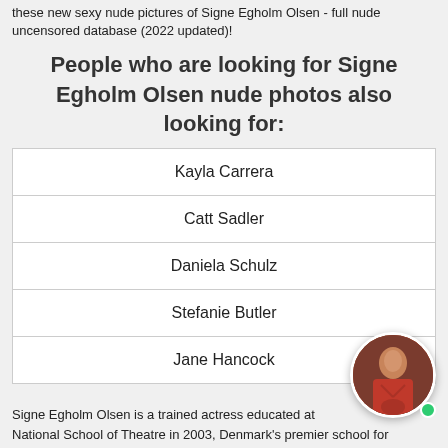these new sexy nude pictures of Signe Egholm Olsen - full nude uncensored database (2022 updated)!
People who are looking for Signe Egholm Olsen nude photos also looking for:
| Kayla Carrera |
| Catt Sadler |
| Daniela Schulz |
| Stefanie Butler |
| Jane Hancock |
Signe Egholm Olsen is a trained actress educated at National School of Theatre in 2003, Denmark's premier school for
[Figure (photo): Circular avatar photo of a woman in a red outfit]